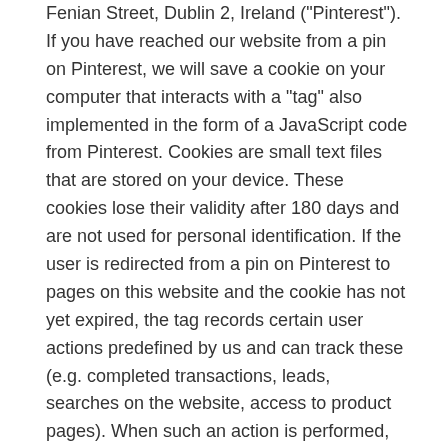Fenian Street, Dublin 2, Ireland ("Pinterest"). If you have reached our website from a pin on Pinterest, we will save a cookie on your computer that interacts with a "tag" also implemented in the form of a JavaScript code from Pinterest. Cookies are small text files that are stored on your device. These cookies lose their validity after 180 days and are not used for personal identification. If the user is redirected from a pin on Pinterest to pages on this website and the cookie has not yet expired, the tag records certain user actions predefined by us and can track these (e.g. completed transactions, leads, searches on the website, access to product pages). When such an action is performed, your browser sends an HTTP request from the cookie to the Pinterest server via the Pinterest tag, which contains certain information about the action (including the type of action, time, browser type of the device). Through this transmission, Pinterest can create statistics about the usage behaviour on our website after forwarding from a Pinterest pin, which we use to optimise our offer. Insofar as personal user data is processed, this is done in accordance with Art. 6(1)(f) GDPR on the basis of our legitimate interest in the